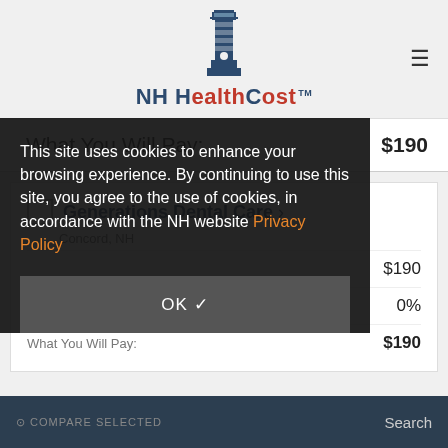NH HealthCost
What You Will Pay: $190
Generations Dental Care › Concord, NH
$190
Uninsured Discount: 0%
What You Will Pay: $190
This site uses cookies to enhance your browsing experience. By continuing to use this site, you agree to the use of cookies, in accordance with the NH website Privacy Policy
OK ✓
COMPARE SELECTED   Search